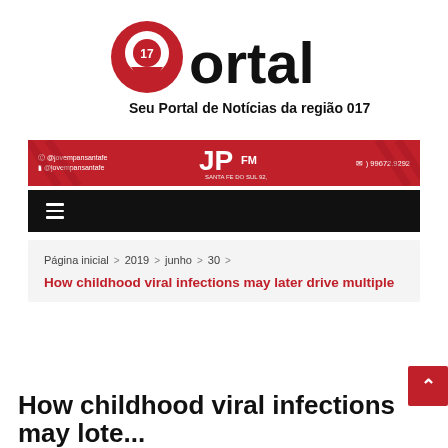[Figure (logo): Portal 17 logo — red map pin with '17' inside, text 'Portal' in bold black, subtitle 'Seu Portal de Notícias da região 017']
[Figure (logo): JP FM Santa Fe do Sul 92.5 radio banner in red with social media handles @jovempansantafe and phone 99672.9292]
[Figure (other): Black navigation bar with hamburger menu icon]
Página inicial > 2019 > junho > 30 >
How childhood viral infections may later drive multiple
How childhood viral infections may lote...